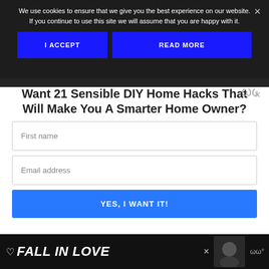We use cookies to ensure that we give you the best experience on our website. If you continue to use this site we will assume that you are happy with it.
I ACCEPT
READ MORE
Want 21 Sensible DIY Home Hacks That Will Make You A Smarter Home Owner?
First name
Email address
YES, I WANT IT!
FALL IN LOVE